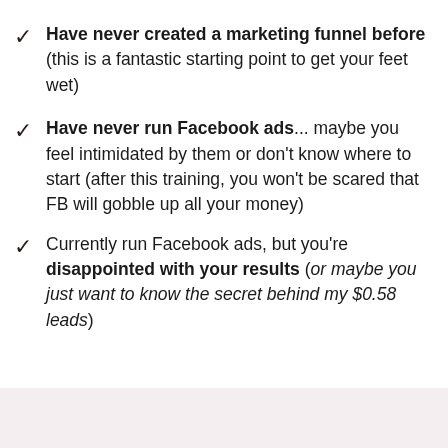Have never created a marketing funnel before (this is a fantastic starting point to get your feet wet)
Have never run Facebook ads... maybe you feel intimidated by them or don't know where to start (after this training, you won't be scared that FB will gobble up all your money)
Currently run Facebook ads, but you're disappointed with your results (or maybe you just want to know the secret behind my $0.58 leads)